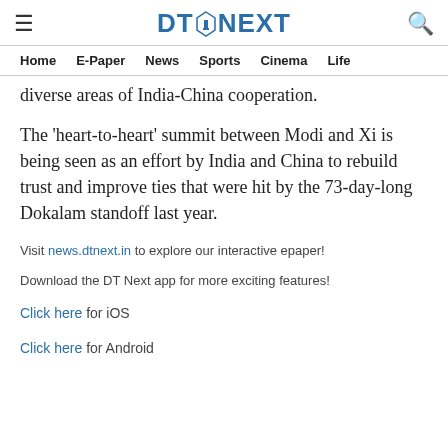≡  DT NEXT  🔍
Home   E-Paper   News   Sports   Cinema   Life
diverse areas of India-China cooperation.
The 'heart-to-heart' summit between Modi and Xi is being seen as an effort by India and China to rebuild trust and improve ties that were hit by the 73-day-long Dokalam standoff last year.
Visit news.dtnext.in to explore our interactive epaper!
Download the DT Next app for more exciting features!
Click here for iOS
Click here for Android